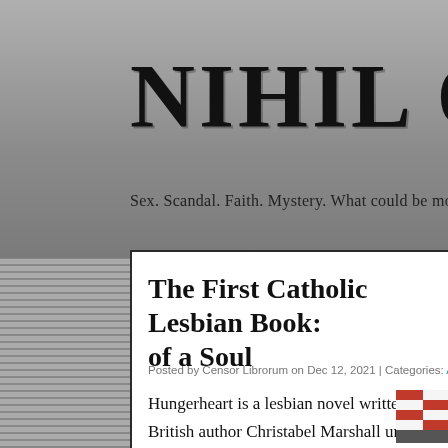NIHIL OBSTA
Sex.  Scandal.  Faith.  Mystery.  What could be more Catho
The First Catholic Lesbian Book: of a Soul
Posted by Censor Librorum on Dec 12, 2021 | Categories: Arts & Lett
Hungerheart is a lesbian novel written by British author Christabel Marshall under her adopted male name, Christopher St. John. The book was published in 1915 in London